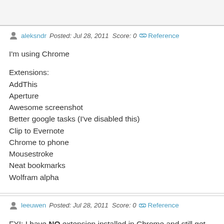aleksndr   Posted: Jul 28, 2011   Score: 0   Reference
I'm using Chrome

Extensions:
AddThis
Aperture
Awesome screenshot
Better google tasks (I've disabled this)
Clip to Evernote
Chrome to phone
Mousestroke
Neat bookmarks
Wolfram alpha
leeuwen   Posted: Jul 28, 2011   Score: 0   Reference
FYI: I have NO extension installed in Chrome and still get this message (will post a bug with screenshot).